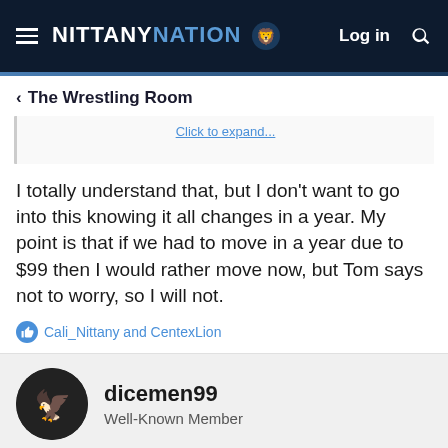NITTANYNATION — Log in
< The Wrestling Room
I totally understand that, but I don't want to go into this knowing it all changes in a year. My point is that if we had to move in a year due to $99 then I would rather move now, but Tom says not to worry, so I will not.
Cali_Nittany and CentexLion
dicemen99
Well-Known Member
Oct 11, 2021
tikk19 said: